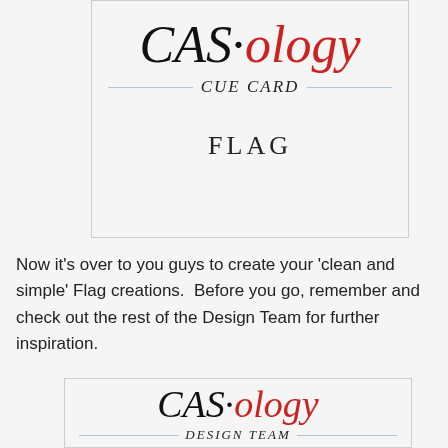[Figure (logo): CAS·ology Cue Card logo with 'FLAG' text. CAS in black italic, ·ology in red italic, CUE CARD in black italic below with thin blue horizontal lines, and FLAG centered below.]
Now it's over to you guys to create your 'clean and simple' Flag creations.  Before you go, remember and check out the rest of the Design Team for further inspiration.
[Figure (logo): CAS·ology Design Team logo. CAS in black italic, ·ology in red italic, DESIGN TEAM in black italic below with thin blue horizontal line.]